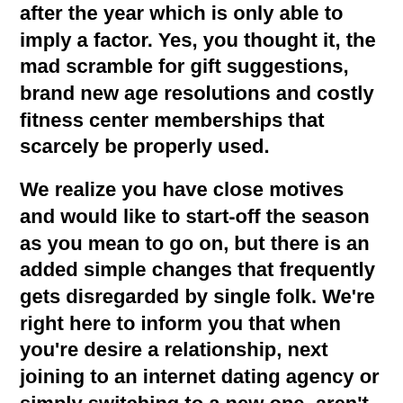after the year which is only able to imply a factor. Yes, you thought it, the mad scramble for gift suggestions, brand new age resolutions and costly fitness center memberships that scarcely be properly used.
We realize you have close motives and would like to start-off the season as you mean to go on, but there is an added simple changes that frequently gets disregarded by single folk. We're right here to inform you that when you're desire a relationship, next joining to an internet dating agency or simply switching to a new one, aren't your sole hands-on relationship alternatives.
Online dating sites
There can be a misconception that internet dating is a simple, cheaper and convenient choice for people wishing twenty first century fancy. All of us have smart phones, pills, laptops